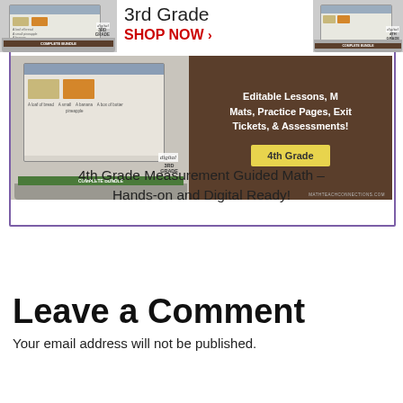[Figure (screenshot): Advertisement banner showing a laptop with '3rd Grade' and 'SHOP NOW >' text, alongside a 4th Grade digital math bundle ad with brown background showing 'Editable Lessons, Mats, Practice Pages, Exit Tickets, & Assessments!' and a yellow '4th Grade' button. All contained in a purple-bordered box with caption below.]
4th Grade Measurement Guided Math – Hands-on and Digital Ready!
Leave a Comment
Your email address will not be published.